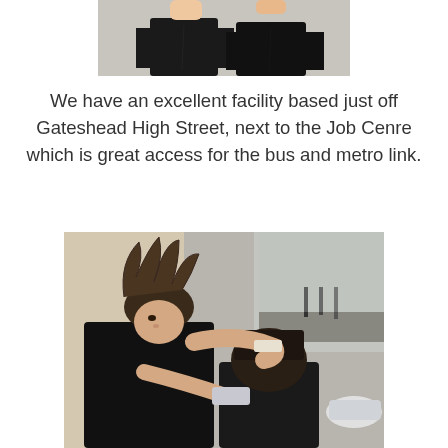[Figure (photo): Two people dressed in black standing together in a room, photo cropped at top showing from shoulders down.]
We have an excellent facility based just off Gateshead High Street, next to the Job Cenre which is great access for the bus and metro link.
[Figure (photo): A hairdresser with a styled mohawk-like hair cutting another person's hair using clippers in a salon setting with mirrors.]